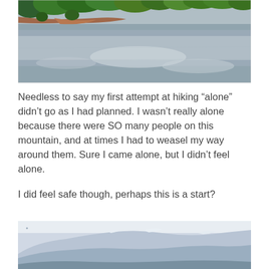[Figure (photo): Aerial view of a lake with forested shores and cloudy sky reflection on water]
Needless to say my first attempt at hiking “alone” didn’t go as I had planned. I wasn’t really alone because there were SO many people on this mountain, and at times I had to weasel my way around them. Sure I came alone, but I didn’t feel alone.
I did feel safe though, perhaps this is a start?
[Figure (photo): Partial view of snow-capped mountain range with hazy blue tones]